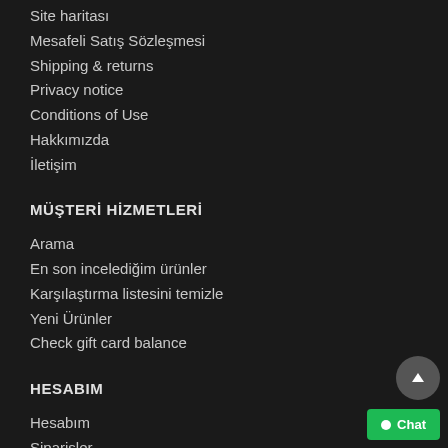Site haritası
Mesafeli Satış Sözleşmesi
Shipping & returns
Privacy notice
Conditions of Use
Hakkımızda
İletişim
MÜŞTERİ HİZMETLERİ
Arama
En son incelediğim ürünler
Karşılaştırma listesini temizle
Yeni Ürünler
Check gift card balance
HESABIM
Hesabım
Siparişler
Adres
Alışveriş sepeti
İstek Listesi